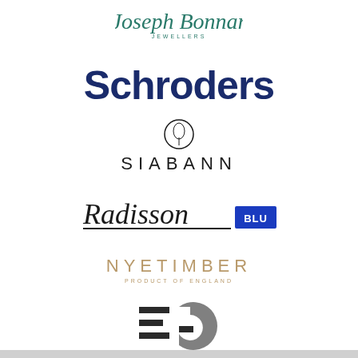[Figure (logo): Joseph Bonnar Jewellers logo in teal cursive script with JEWELLERS text below]
[Figure (logo): Schroders logo in bold dark navy blue sans-serif text]
[Figure (logo): Siabann logo with circular thistle emblem above spaced uppercase letters]
[Figure (logo): Radisson Blu logo with italicised script Radisson and blue BLU badge]
[Figure (logo): Nyetimber logo in gold spaced caps with PRODUCT OF ENGLAND subtitle]
[Figure (logo): Edinburgh Gin logo with stylised EG monogram and EDINBURGH GIN text]